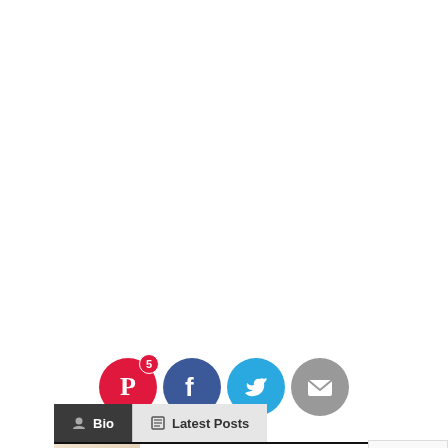[Figure (screenshot): Pin it button - a small button with cursive red 'Pin it' text and border]
[Figure (infographic): Social sharing icons row: Pinterest (red circle with P logo and badge showing 5), Facebook (dark blue circle with f logo), Twitter (light blue circle with bird logo), Email (gray circle with envelope icon)]
Bio
Latest Posts
KIMIHARRIS
I love beautiful and simple food that is nourishing to the body and the